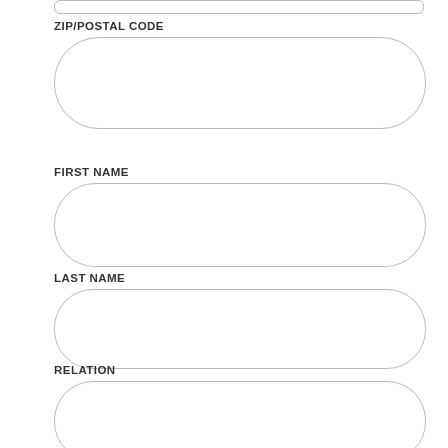ZIP/POSTAL CODE
[Figure (other): Empty rounded rectangle input field for ZIP/POSTAL CODE]
FIRST NAME
[Figure (other): Empty rounded rectangle input field for FIRST NAME]
LAST NAME
[Figure (other): Empty rounded rectangle input field for LAST NAME]
RELATION
[Figure (other): Empty rounded rectangle input field for RELATION]
PHONE
[Figure (other): Empty rounded rectangle input field for PHONE]